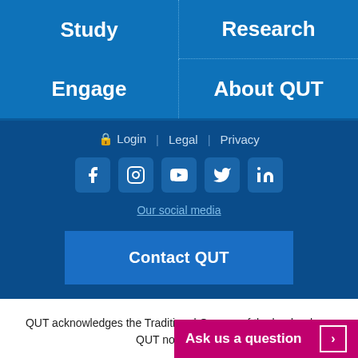Study
Research
Engage
About QUT
🔒 Login | Legal | Privacy
[Figure (infographic): Social media icons: Facebook, Instagram, YouTube, Twitter, LinkedIn]
Our social media
Contact QUT
QUT acknowledges the Traditional Owners of the lands where QUT now stands.
CRICOS No. 00213J | ABN 83 791 724 622
Page upda
Ask us a question